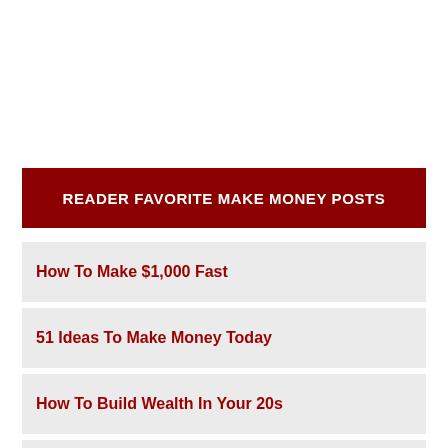READER FAVORITE MAKE MONEY POSTS
How To Make $1,000 Fast
51 Ideas To Make Money Today
How To Build Wealth In Your 20s
10 Steps To Becoming Rich You Must Follow